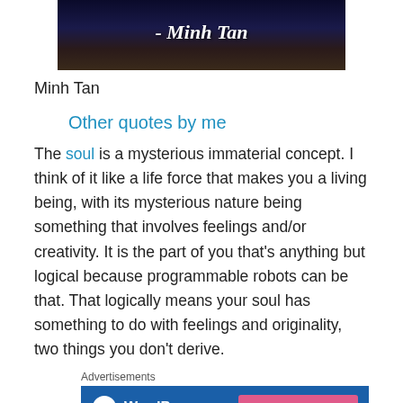[Figure (illustration): Dark night sky background image with text '- Minh Tan' in bold italic white font]
Minh Tan
Other quotes by me
The soul is a mysterious immaterial concept. I think of it like a life force that makes you a living being, with its mysterious nature being something that involves feelings and/or creativity. It is the part of you that's anything but logical because programmable robots can be that. That logically means your soul has something to do with feelings and originality, two things you don't derive.
Advertisements
[Figure (screenshot): WordPress.com advertisement banner with blue background, WordPress logo, and pink 'Build Your Website' button]